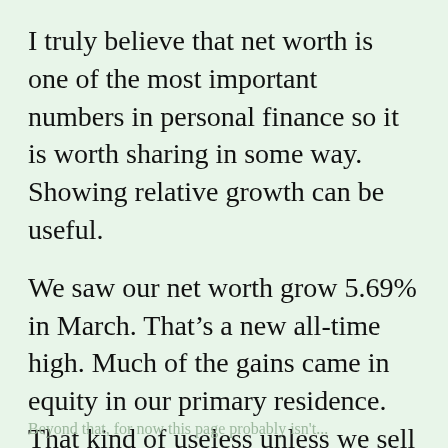I truly believe that net worth is one of the most important numbers in personal finance so it is worth sharing in some way. Showing relative growth can be useful.
We saw our net worth grow 5.69% in March. That’s a new all-time high. Much of the gains came in equity in our primary residence. That kind of useless unless we sell our house or get a reverse mortgage. For 2022, our net worth is up 3.74%. Considering the markets haven’t been too hot, we’ll take the gains.
Beyond that, for now this page probably isn't...